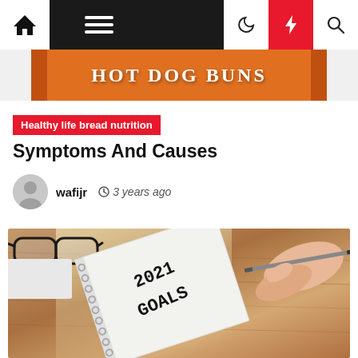Navigation bar with home, menu, moon, bolt, search icons
[Figure (photo): Hot Dog Buns orange packaging banner, partially visible at top of page]
Healthy life bread nutrition
Symptoms And Causes
wafijr  3 years ago
[Figure (photo): Photo of a notebook with '2021 GOALS' written on it, a pen held by a hand, and glasses on a wooden desk]